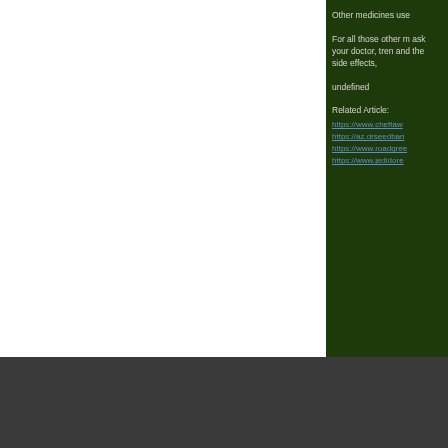Other medicines use
For all those other m ask your doctor, tren and the side effects,
undefined
Related Article:
https://www.cheftaw
https://az.drseedban
https://www.roadgree
https://www.jedidore